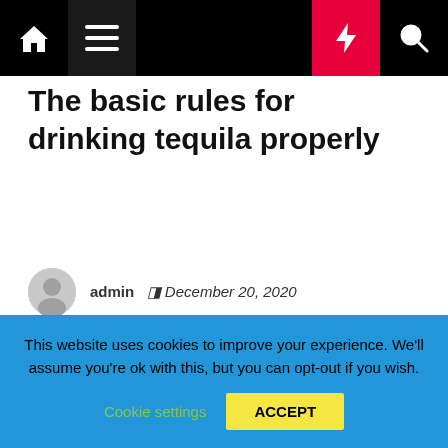Navigation bar with home, menu, moon, bolt, and search icons
The basic rules for drinking tequila properly
admin  December 20, 2020
[Figure (photo): Three tequila shot glasses with salted rims and lime wedges on a wooden table]
This website uses cookies to improve your experience. We'll assume you're ok with this, but you can opt-out if you wish. Cookie settings  ACCEPT